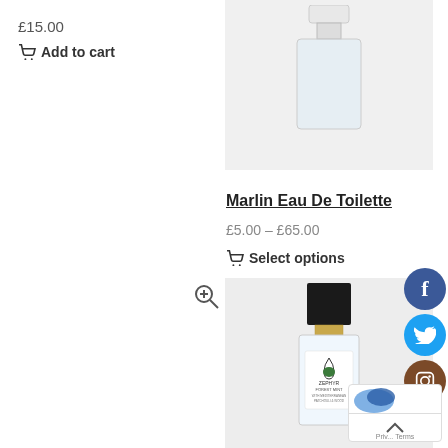£15.00
Add to cart
[Figure (photo): Top portion of a perfume bottle with clear glass and white cap on light grey background]
Marlin Eau De Toilette
£5.00 – £65.00
Select options
[Figure (photo): Perfume bottle with black rectangular cap and clear glass body with green botanical label reading ZEPHYR FOREST MINT, on light grey background]